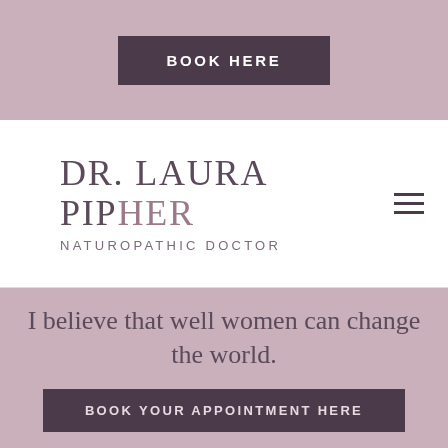[Figure (screenshot): BOOK HERE button on mauve/pink background]
DR. LAURA PIPHER NATUROPATHIC DOCTOR
[Figure (other): Hamburger menu icon]
I believe that well women can change the world.
BOOK YOUR APPOINTMENT HERE